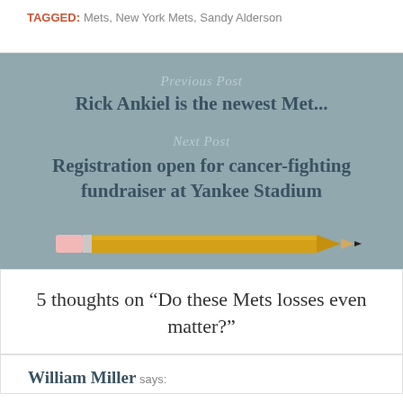TAGGED: Mets, New York Mets, Sandy Alderson
Previous Post
Rick Ankiel is the newest Met...
Next Post
Registration open for cancer-fighting fundraiser at Yankee Stadium
[Figure (illustration): A yellow pencil illustration with pink eraser and dark tip, oriented horizontally]
5 thoughts on “Do these Mets losses even matter?”
William Miller says: